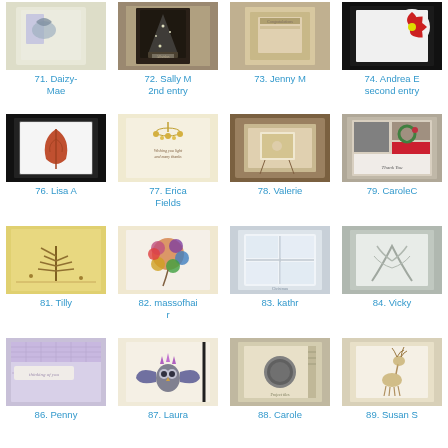[Figure (photo): Thumbnail image 71 - card with butterfly/floral design on light background]
71. Daizy-Mae
[Figure (photo): Thumbnail image 72 - Christmas tree glitter card on dark background]
72. Sally M 2nd entry
[Figure (photo): Thumbnail image 73 - card on tan/beige background]
73. Jenny M
[Figure (photo): Thumbnail image 74 - red poinsettia on dark background]
74. Andrea E second entry
[Figure (photo): Thumbnail image 76 - red maple leaf card on dark background]
76. Lisa A
[Figure (photo): Thumbnail image 77 - chandelier/light card on cream background]
77. Erica Fields
[Figure (photo): Thumbnail image 78 - brown/gold decorative card]
78. Valerie
[Figure (photo): Thumbnail image 79 - vintage style card with dark elements]
79. CaroleC
[Figure (photo): Thumbnail image 81 - tree silhouette card on yellow background]
81. Tilly
[Figure (photo): Thumbnail image 82 - colorful flower balloon card]
82. massofhair
[Figure (photo): Thumbnail image 83 - light blue grid/window card]
83. kathr
[Figure (photo): Thumbnail image 84 - silver/grey embossed card]
84. Vicky
[Figure (photo): Thumbnail image 86 - purple gingham card with text]
86. Penny
[Figure (photo): Thumbnail image 87 - owl illustration card]
87. Laura
[Figure (photo): Thumbnail image 88 - grey/beige card with circular element]
88. Carole
[Figure (photo): Thumbnail image 89 - cream card with deer/reindeer stamped image]
89. Susan S